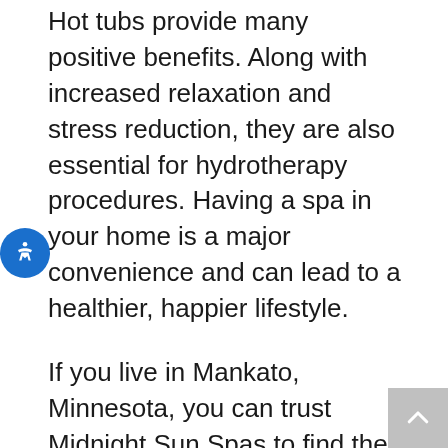Hot tubs provide many positive benefits. Along with increased relaxation and stress reduction, they are also essential for hydrotherapy procedures. Having a spa in your home is a major convenience and can lead to a healthier, happier lifestyle.
If you live in Mankato, Minnesota, you can trust Midnight Sun Spas to find the right Mankato hot tubs for you. Many companies these days treat their clients like numbers. Our company believes in small town values, like treating our customers as human beings and always being honest and upfront with them. We will work hard to find the right hot tub for you and your family. Our company offers a great deal of variety for hot tubs in Mankato (like Dimension One Spas) and ...